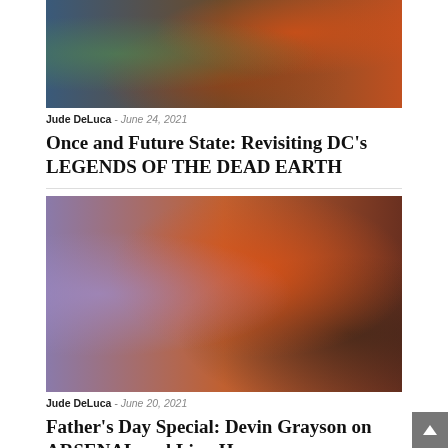[Figure (illustration): Comic book cover art showing action scene with heroes and energy beams, colorful DC Comics style artwork]
Jude DeLuca - June 24, 2021
Once and Future State: Revisiting DC's LEGENDS OF THE DEAD EARTH
[Figure (illustration): Comic book cover art featuring Arsenal (Roy Harper) in orange costume pointing a weapon at viewer, with other characters in background]
Jude DeLuca - June 20, 2021
Father's Day Special: Devin Grayson on ARSENAL and Lian Harper